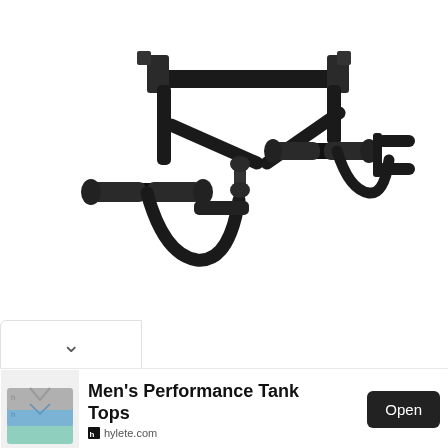[Figure (photo): A black door pull-up bar / chin-up bar with multiple grip positions and foam-padded handles, shown on a white background from a 3/4 angle view.]
[Figure (photo): Chevron/down-arrow button UI element in a white rounded rectangle, indicating scroll down or see more images.]
[Figure (photo): Advertisement banner: photo of stacked grey, blue, and teal athletic tank tops on the left; text 'Men's Performance Tank Tops' in bold; 'Open' button in black; hylete.com source label; play triangle and X close icons top right.]